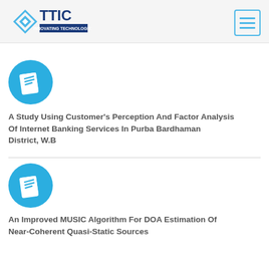[Figure (logo): TTIC Innovating Technologies logo with diamond shape and text]
[Figure (illustration): Blue circular icon with document/book symbol - article 1]
A Study Using Customer's Perception And Factor Analysis Of Internet Banking Services In Purba Bardhaman District, W.B
[Figure (illustration): Blue circular icon with document/book symbol - article 2]
An Improved MUSIC Algorithm For DOA Estimation Of Near-Coherent Quasi-Static Sources